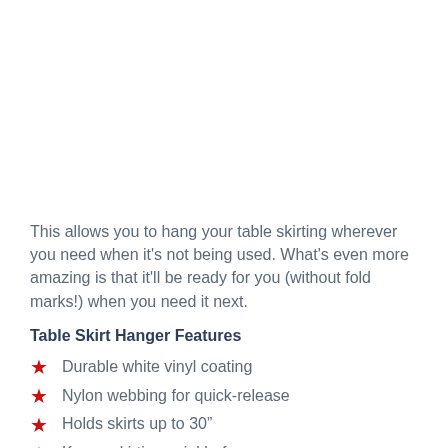This allows you to hang your table skirting wherever you need when it’s not being used. What’s even more amazing is that it’ll be ready for you (without fold marks!) when you need it next.
Table Skirt Hanger Features
Durable white vinyl coating
Nylon webbing for quick-release
Holds skirts up to 30”
Keeps skirting wrinkle-free
Storage is easy and saves space